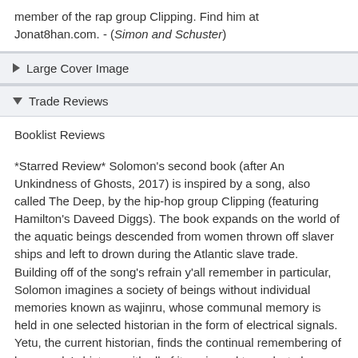member of the rap group Clipping. Find him at Jonat8han.com. - (Simon and Schuster)
Large Cover Image
Trade Reviews
Booklist Reviews
*Starred Review* Solomon's second book (after An Unkindness of Ghosts, 2017) is inspired by a song, also called The Deep, by the hip-hop group Clipping (featuring Hamilton's Daveed Diggs). The book expands on the world of the aquatic beings descended from women thrown off slaver ships and left to drown during the Atlantic slave trade. Building off of the song's refrain y'all remember in particular, Solomon imagines a society of beings without individual memories known as wajinru, whose communal memory is held in one selected historian in the form of electrical signals. Yetu, the current historian, finds the continual remembering of her people's history, with all of its pain and tragedy, to be a